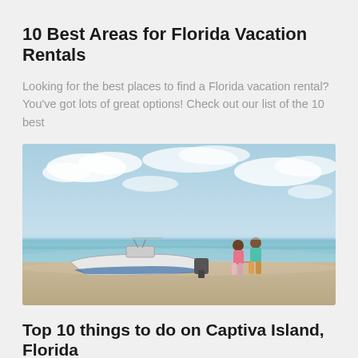10 Best Areas for Florida Vacation Rentals
Looking for the best places to find a Florida vacation rental? You've got lots of great options! Check out our list of the 10 best
[Figure (photo): A couple walking hand-in-hand on a sandy beach with a white motorboat parked at the shoreline, blue sky with clouds in the background, tropical coastal scene.]
Top 10 things to do on Captiva Island, Florida